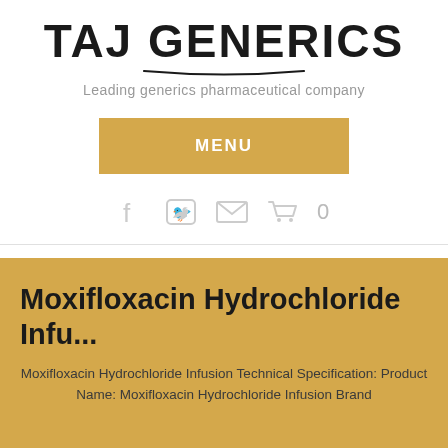[Figure (logo): TAJ GENERICS logo with swoosh underline]
Leading generics pharmaceutical company
MENU
[Figure (infographic): Social media icons: Facebook, Twitter, Email, Shopping cart with count 0]
Moxifloxacin Hydrochloride Infu...
Moxifloxacin Hydrochloride Infusion Technical Specification: Product Name: Moxifloxacin Hydrochloride Infusion Brand